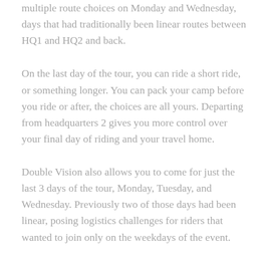multiple route choices on Monday and Wednesday, days that had traditionally been linear routes between HQ1 and HQ2 and back.
On the last day of the tour, you can ride a short ride, or something longer. You can pack your camp before you ride or after, the choices are all yours. Departing from headquarters 2 gives you more control over your final day of riding and your travel home.
Double Vision also allows you to come for just the last 3 days of the tour, Monday, Tuesday, and Wednesday. Previously two of those days had been linear, posing logistics challenges for riders that wanted to join only on the weekdays of the event.